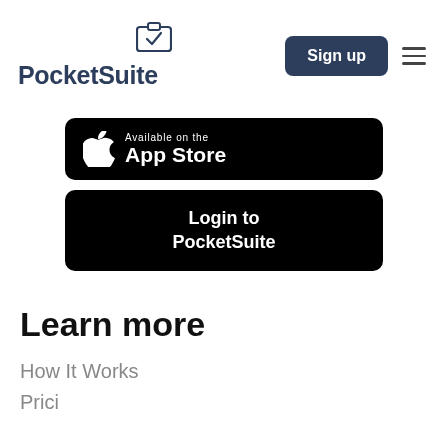PocketSuite
[Figure (screenshot): Available on the App Store button — black rounded rectangle with Apple logo and text 'Available on the App Store']
[Figure (screenshot): Login to PocketSuite button — black rounded rectangle with white bold text 'Login to PocketSuite']
Learn more
How It Works
Pricing